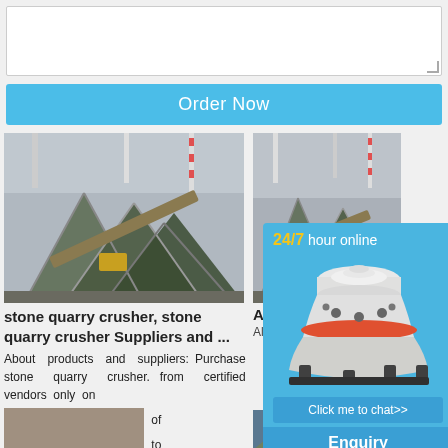[Figure (screenshot): Textarea input box (white, with resize handle)]
Order Now
[Figure (photo): Stone quarry crusher industrial facility photo]
stone quarry crusher, stone quarry crusher Suppliers and ...
About products and suppliers: Purchase stone quarry crusher. from certified vendors only on
[Figure (photo): Partial quarry ground photo]
of
to
on
[Figure (photo): Industrial facility photo (right column top)]
Alibaba
Alibaba
[Figure (infographic): 24/7 hour online ad with crusher machine image and Click me to chat>> button and Enquiry and limingjlmofen labels]
[Figure (photo): Rocky mountain quarry photo (right column bottom)]